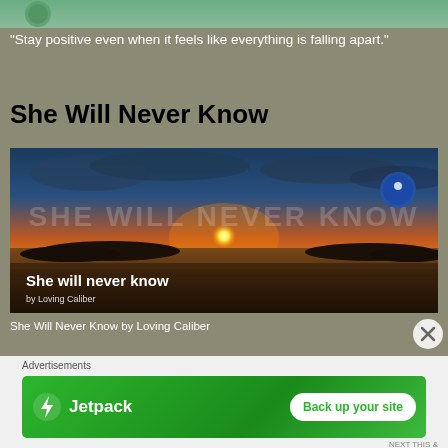[Figure (photo): Top portion of a cropped image showing green tones, partially visible at the top of the page]
"Stay positive even when it feels like everything is falling apart."
She Will Never Know
[Figure (photo): Scenic sunset photo over water with islands silhouetted on the horizon. Large watermark text reads 'SHE WILL NEVER KNOW' overlaid. White text in lower left reads 'She will never know by Loving Caliber'. A blue circular button icon is visible in the upper right corner.]
She Will Never Know by Loving Caliber
Advertisements
[Figure (logo): Jetpack advertisement banner with green background, Jetpack logo with lightning bolt icon on the left, and a white rounded button on the right reading 'Back up your site']